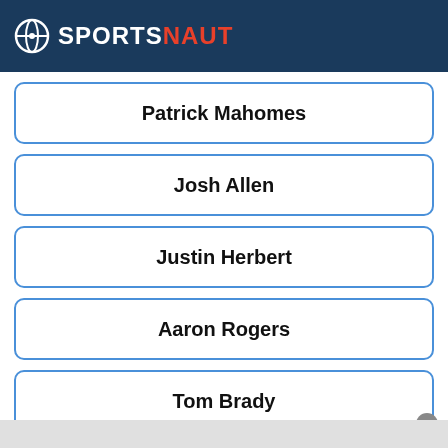SPORTSNAUT
Patrick Mahomes
Josh Allen
Justin Herbert
Aaron Rogers
Tom Brady
3969 votes
[Figure (screenshot): Advertisement for Kohl's: Up to 60% off Clothing at Kohl's. Save up to 60% on clothing and homeware at Kohl's.com. kohls.com]